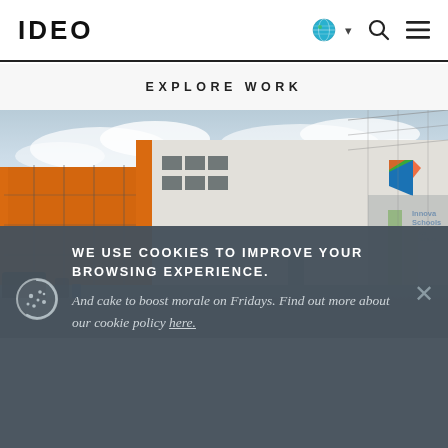IDEO
EXPLORE WORK
[Figure (photo): Exterior photograph of an Innova Schools building with orange and white facade, featuring the Innova Schools logo on the white wall, vehicles and motorcycles parked in front, under a partly cloudy sky.]
WE USE COOKIES TO IMPROVE YOUR BROWSING EXPERIENCE. And cake to boost morale on Fridays. Find out more about our cookie policy here.